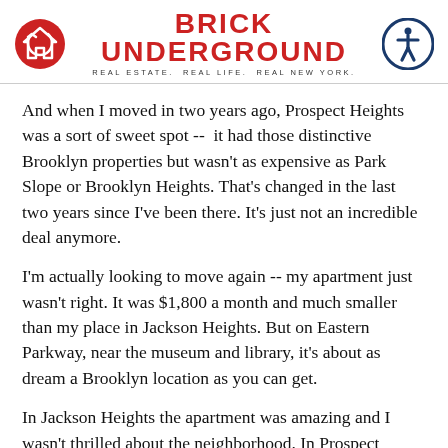BRICK UNDERGROUND | REAL ESTATE. REAL LIFE. REAL NEW YORK.
And when I moved in two years ago, Prospect Heights was a sort of sweet spot --  it had those distinctive Brooklyn properties but wasn't as expensive as Park Slope or Brooklyn Heights. That's changed in the last two years since I've been there. It's just not an incredible deal anymore.
I'm actually looking to move again -- my apartment just wasn't right. It was $1,800 a month and much smaller than my place in Jackson Heights. But on Eastern Parkway, near the museum and library, it's about as dream a Brooklyn location as you can get.
In Jackson Heights the apartment was amazing and I wasn't thrilled about the neighborhood. In Prospect Heights it was